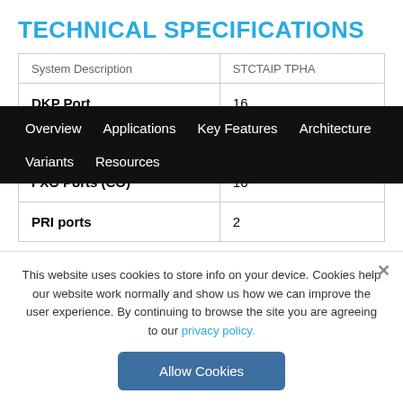TECHNICAL SPECIFICATIONS
|  |  |
| --- | --- |
| System Description | STCTAIP TPHA |
| DKP Port | 16 |
| IP User | 100 |
| FXO Ports (CO) | 16 |
| PRI ports | 2 |
Overview   Applications   Key Features   Architecture   Variants   Resources
This website uses cookies to store info on your device. Cookies help our website work normally and show us how we can improve the user experience. By continuing to browse the site you are agreeing to our privacy policy.